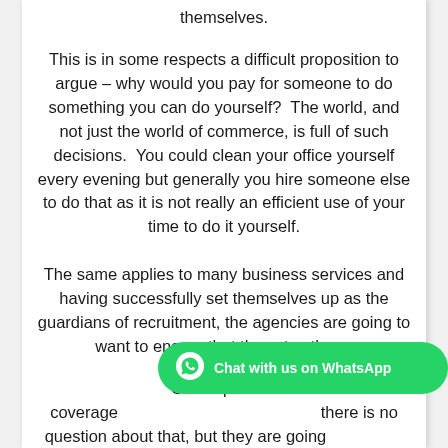themselves.
This is in some respects a difficult proposition to argue – why would you pay for someone to do something you can do yourself?  The world, and not just the world of commerce, is full of such decisions.  You could clean your office yourself every evening but generally you hire someone else to do that as it is not really an efficient use of your time to do it yourself.
The same applies to many business services and having successfully set themselves up as the guardians of recruitment, the agencies are going to want to ensure that they stay there.
GfJ helps their coverage there is no question about that, but they are going to have to be seen to be adding value to the process because that same